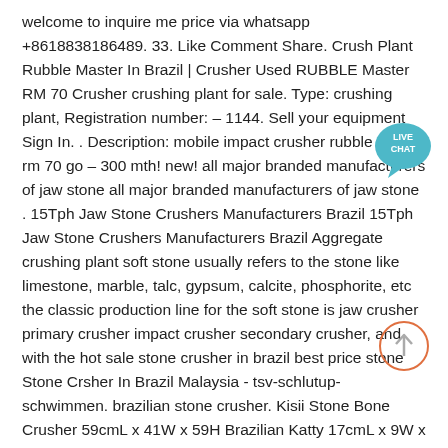welcome to inquire me price via whatsapp +8618838186489. 33. Like Comment Share. Crush Plant Rubble Master In Brazil | Crusher Used RUBBLE Master RM 70 Crusher crushing plant for sale. Type: crushing plant, Registration number: – 1144. Sell your equipment Sign In. . Description: mobile impact crusher rubble master rm 70 go – 300 mth! new! all major branded manufacturers of jaw stone all major branded manufacturers of jaw stone . 15Tph Jaw Stone Crushers Manufacturers Brazil 15Tph Jaw Stone Crushers Manufacturers Brazil Aggregate crushing plant soft stone usually refers to the stone like limestone, marble, talc, gypsum, calcite, phosphorite, etc the classic production line for the soft stone is jaw crusher primary crusher impact crusher secondary crusher, and with the hot sale stone crusher in brazil best price stone Stone Crsher In Brazil Malaysia - tsv-schlutup-schwimmen. brazilian stone crusher. Kisii Stone Bone Crusher 59cmL x 41W x 59H Brazilian Katty 17cmL x 9W x 14H Kisii Stone. Get
[Figure (other): Live Chat badge - circular teal/green badge with speech bubble icon and text LIVE CHAT]
[Figure (other): Scroll-up circle - orange outlined circle with upward arrow inside]